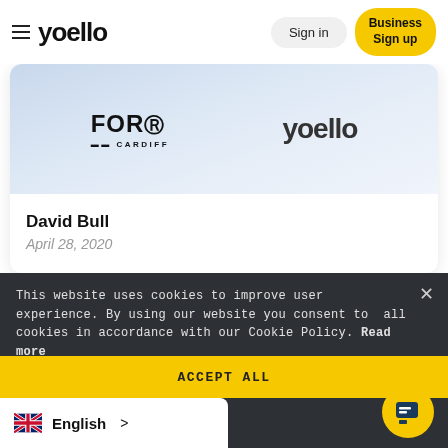yoello  Sign in  Business Sign up
[Figure (screenshot): Card showing For Cardiff and yoello logos on a light blue gradient background]
David Bull
April 28, 2020
This website uses cookies to improve user experience. By using our website you consent to all cookies in accordance with our Cookie Policy. Read more
Related posts:
ACCEPT ALL
English >